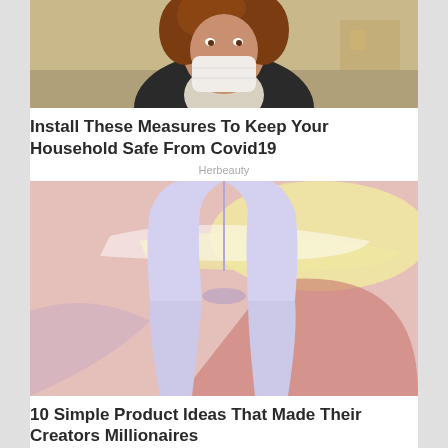[Figure (photo): Woman wearing a face mask with curly hair, wearing a black jacket and necklace, outdoors on a street]
Install These Measures To Keep Your Household Safe From Covid19
Herbeauty
[Figure (photo): Person wearing white/lavender tight leggings against a colorful abstract painted background with yellow, pink and purple brush strokes]
10 Simple Product Ideas That Made Their Creators Millionaires
Brainberries